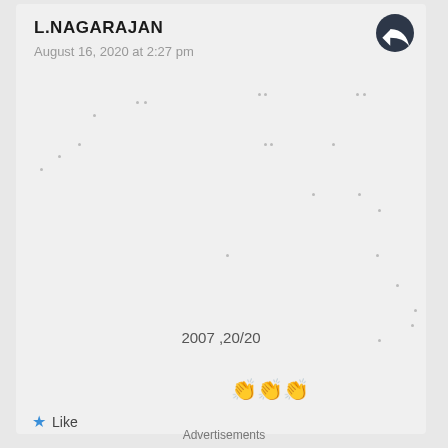L.NAGARAJAN
August 16, 2020 at 2:27 pm
2007 ,20/20
👏👏👏
Like
Advertisements